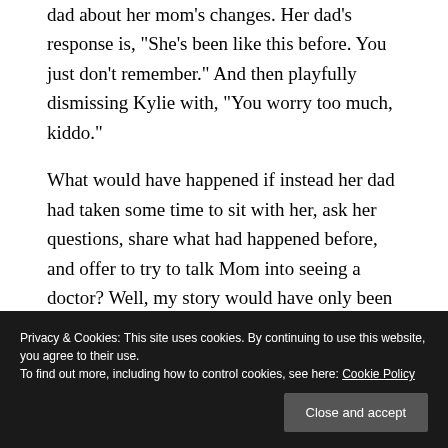dad about her mom’s changes. Her dad’s response is, “She’s been like this before. You just don’t remember.” And then playfully dismissing Kylie with, “You worry too much, kiddo.”
What would have happened if instead her dad had taken some time to sit with her, ask her questions, share what had happened before, and offer to try to talk Mom into seeing a doctor? Well, my story would have only been
Privacy & Cookies: This site uses cookies. By continuing to use this website, you agree to their use.
To find out more, including how to control cookies, see here: Cookie Policy
won’t have anything to do with her, the horses,